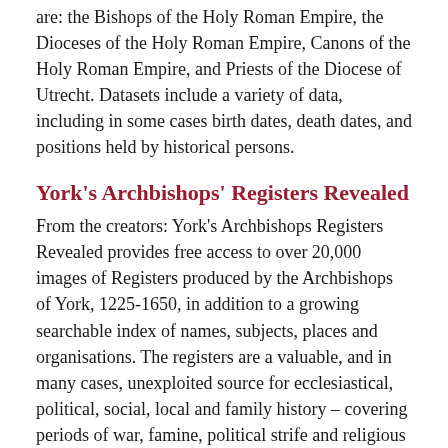are: the Bishops of the Holy Roman Empire, the Dioceses of the Holy Roman Empire, Canons of the Holy Roman Empire, and Priests of the Diocese of Utrecht. Datasets include a variety of data, including in some cases birth dates, death dates, and positions held by historical persons.
York's Archbishops' Registers Revealed
From the creators: York's Archbishops Registers Revealed provides free access to over 20,000 images of Registers produced by the Archbishops of York, 1225-1650, in addition to a growing searchable index of names, subjects, places and organisations. The registers are a valuable, and in many cases, unexploited source for ecclesiastical, political, social, local and family history – covering periods of war, famine, political strife and religious reformation in the Archdiocese of York and the wider Northern Province.
The site contains over 5000 entries cataloged and organized with subject headings, indexes, and searchable contents. The project also offers IIIF capability for its images.